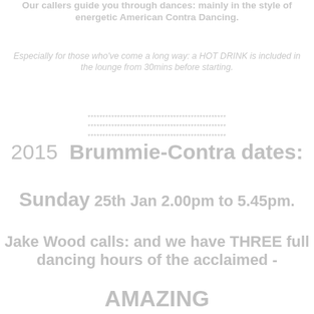Our callers guide you through dances: mainly in the style of energetic American Contra Dancing.
Especially for those who've come a long way: a HOT DRINK is included in the lounge from 30mins before starting.
***********************************************
***********************************************
***********************************************
2015 Brummie-Contra dates:
Sunday 25th Jan 2.00pm to 5.45pm.
Jake Wood calls: and we have THREE full dancing hours of the acclaimed -
AMAZING